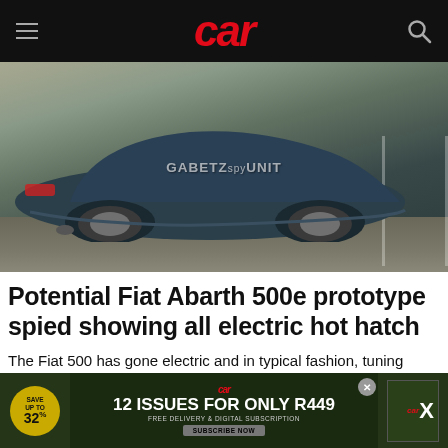car
[Figure (photo): Rear three-quarter spy photo of a dark blue Fiat Abarth 500e prototype in a parking lot, with watermark text 'GABETZspyUNIT']
Potential Fiat Abarth 500e prototype spied showing all electric hot hatch
The Fiat 500 has gone electric and in typical fashion, tuning house Abarth will put their expertise to use on the model. A potential Fiat Abarth 500e prototype has been spied in Italy wearing sheep's clothing.
[Figure (infographic): Car Magazine advertisement banner: 12 Issues for only R449, save up to 32%, free delivery and digital subscription, subscribe now]